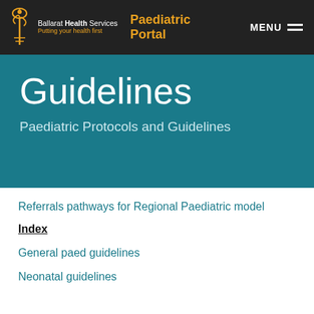Ballarat Health Services — Putting your health first | Paediatric Portal | MENU
Guidelines
Paediatric Protocols and Guidelines
Referrals pathways for Regional Paediatric model
Index
General paed guidelines
Neonatal guidelines